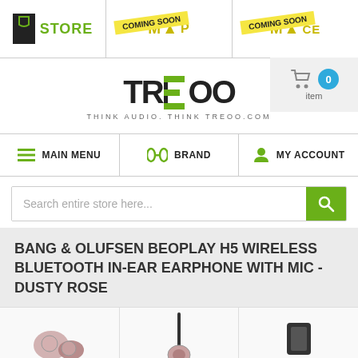STORE | COMING SOON | COMING SOON
[Figure (logo): TREOO logo with tagline THINK AUDIO. THINK TREOO.COM]
MAIN MENU | BRAND | MY ACCOUNT
Search entire store here...
BANG & OLUFSEN BEOPLAY H5 WIRELESS BLUETOOTH IN-EAR EARPHONE WITH MIC - DUSTY ROSE
[Figure (photo): Product images of Bang & Olufsen Beoplay H5 earphones in three different views]